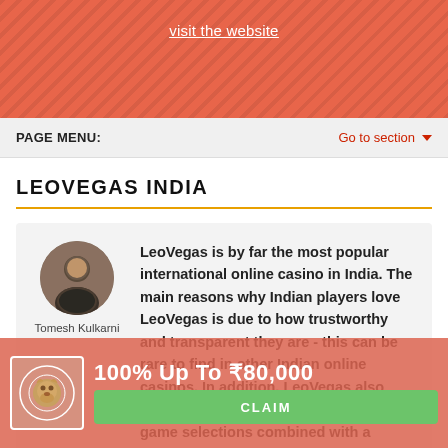visit the website
PAGE MENU:   Go to section
LEOVEGAS INDIA
Tomesh Kulkarni
LeoVegas is by far the most popular international online casino in India. The main reasons why Indian players love LeoVegas is due to how trustworthy and transparent they are - this can be rare to find in other Indian online casinos. In addition, LeoVegas also offers one of the world's biggest casino game selections combined with a simple
100% Up To ₹80,000   CLAIM